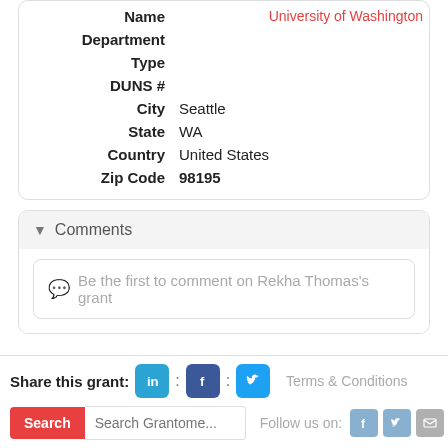| Name | University of Washington |
| Department |  |
| Type |  |
| DUNS # |  |
| City | Seattle |
| State | WA |
| Country | United States |
| Zip Code | 98195 |
Comments
Be the first to comment on Rekha Thomas's grant
Share this grant:
Terms & Conditions
Search Grantome...
Follow us on: